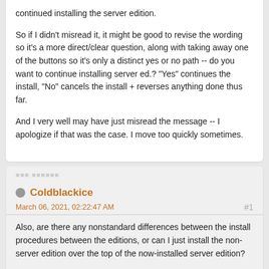continued installing the server edition.

So if I didn't misread it, it might be good to revise the wording so it's a more direct/clear question, along with taking away one of the buttons so it's only a distinct yes or no path -- do you want to continue installing server ed.? "Yes" continues the install, "No" cancels the install + reverses anything done thus far.

And I very well may have just misread the message -- I apologize if that was the case. I move too quickly sometimes.
Coldblackice
March 06, 2021, 02:22:47 AM
#1
Also, are there any nonstandard differences between the install procedures between the editions, or can I just install the non-server edition over the top of the now-installed server edition?

Usually I would take the safe route and just clean uninstall everything and then reinstall from fresh. I can do that if necessary, but I'm hoping they both just change a main binary or